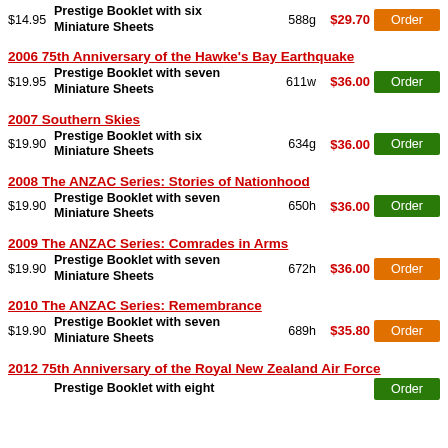2006 75th Anniversary of the Hawke's Bay Earthquake
$19.95  Prestige Booklet with seven Miniature Sheets  611w  $36.00  Order
2007 Southern Skies
$19.90  Prestige Booklet with six Miniature Sheets  634g  $36.00  Order
2008 The ANZAC Series: Stories of Nationhood
$19.90  Prestige Booklet with seven Miniature Sheets  650h  $36.00  Order
2009 The ANZAC Series: Comrades in Arms
$19.90  Prestige Booklet with seven Miniature Sheets  672h  $36.00  Order
2010 The ANZAC Series: Remembrance
$19.90  Prestige Booklet with seven Miniature Sheets  689h  $35.80  Order
2012 75th Anniversary of the Royal New Zealand Air Force
Prestige Booklet with eight Miniature Sheets  Order